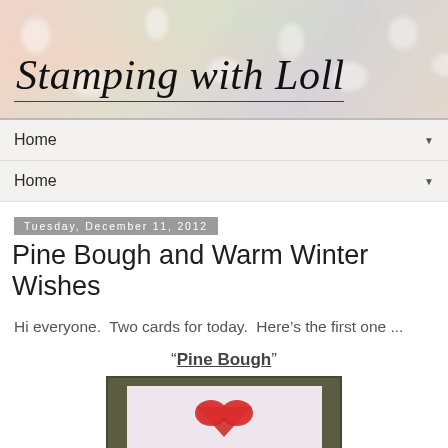[Figure (illustration): Blog header banner for 'Stamping with Loll' with decorative embossed lace background in pastel pink, green, and cream tones, with cursive script title text]
Home ▼
Home ▼
Tuesday, December 11, 2012
Pine Bough and Warm Winter Wishes
Hi everyone.  Two cards for today.  Here's the first one ...
"Pine Bough"
[Figure (photo): A handmade greeting card with a pink/white background featuring a red heart or pine bough design, displayed on an olive/khaki colored surface]